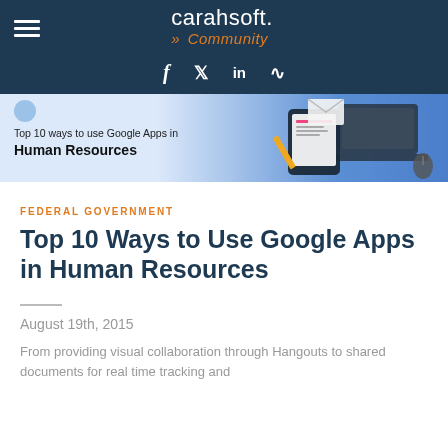carahsoft. Community
[Figure (screenshot): Banner image showing 'Top 10 ways to use Google Apps in Human Resources' with illustrated tablet, laptop, and office items on blue gradient background]
FEDERAL GOVERNMENT
Top 10 Ways to Use Google Apps in Human Resources
August 19th, 2015
From providing visual collaboration through Hangouts to shared documents for real time tracking and